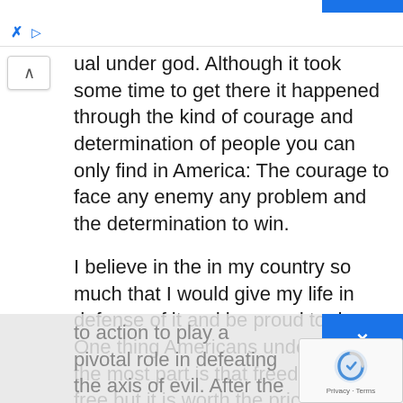ual under god. Although it took some time to get there it happened through the kind of courage and determination of people you can only find in America: The courage to face any enemy any problem and the determination to win.
I believe in the in my country so much that I would give my life in defense of it and be proud to do so. One thing Americans understand for the most part is that freedom isn’t free but it is worth the price. In the Second World War America with al of its industrial sprung in
to action to play a pivotal role in defeating the axis of evil. After the war we continuously dropped supplies to East Germany for almost an entire year to help the German people. We were not